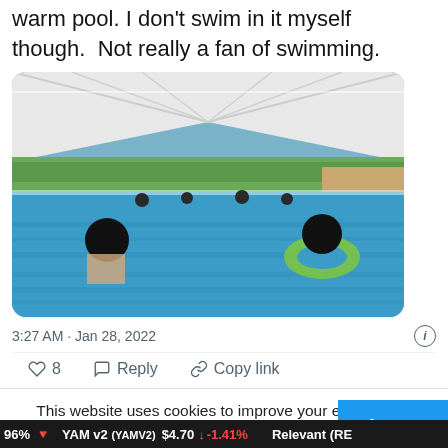warm pool. I don't swim in it myself though. Not really a fan of swimming.
[Figure (photo): Photo of people swimming in an outdoor pool covered by a large white tent/canopy. Two people with blurred/blackened faces are visible in the foreground — one on the left and one on the right using a green inflatable ring. Other swimmers visible in the background. Blue pool water, green trees visible outside.]
3:27 AM · Jan 28, 2022
8   Reply   Copy link
This website uses cookies to improve your experience. We'll assume you're ok with this, but you can opt-out if you wish.
Accept
96%   YAM v2 (YAMV2)  $4.70  ↓ -1.41%   Relevant (RE